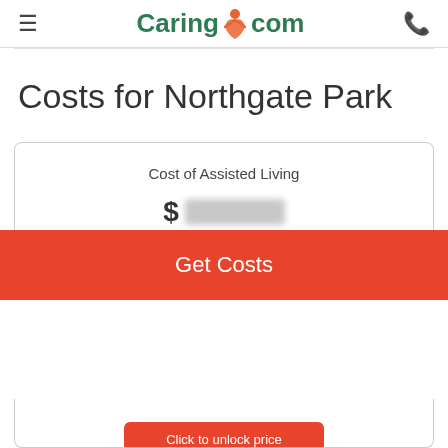≡  Caring.com  ☎
Costs for Northgate Park
Cost of Assisted Living
$[blurred]
Get Costs
Click to unlock price